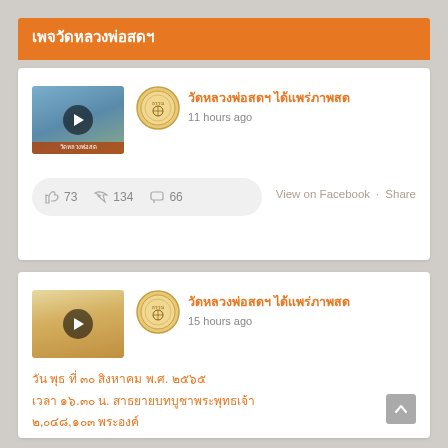เพจวัดหลวงพ่อสดฯ
[Figure (screenshot): Video thumbnail with play button - landscape water and mountain scene]
วัดหลวงพ่อสดฯ ได้แพร่ภาพสด
11 hours ago
👍 73   ↪ 134   💬 66   View on Facebook · Share
[Figure (screenshot): Video thumbnail with play button - temple ceremony scene with orange robes]
วัดหลวงพ่อสดฯ ได้แพร่ภาพสด
15 hours ago
วัน พุธ ที่ ๓๐ สิงหาคม พ.ศ. ๒๕๖๕
เวลา ๑๖.๓๐ น. สาธยายบทบูชาพระพุทธเจ้า
๒,๐๔๘,๑๐๓ พระองค์
**************************************************
**********
แห่งที่ ๑